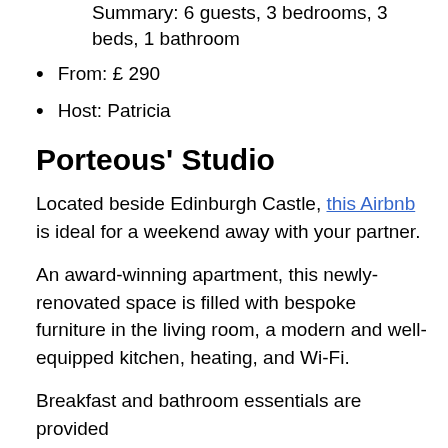Summary: 6 guests, 3 bedrooms, 3 beds, 1 bathroom
From: £ 290
Host: Patricia
Porteous' Studio
Located beside Edinburgh Castle, this Airbnb is ideal for a weekend away with your partner.
An award-winning apartment, this newly-renovated space is filled with bespoke furniture in the living room, a modern and well-equipped kitchen, heating, and Wi-Fi.
Breakfast and bathroom essentials are provided